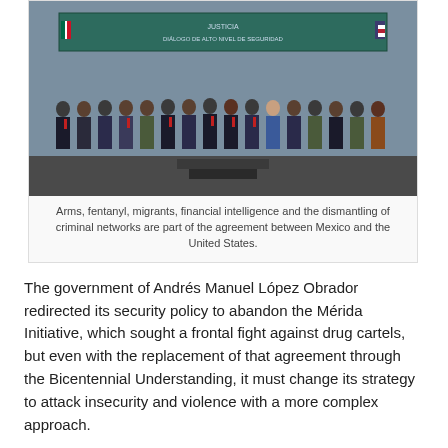[Figure (photo): Group photo of officials from Mexico and the United States standing on a stage in front of a banner, with flags of both countries visible.]
Arms, fentanyl, migrants, financial intelligence and the dismantling of criminal networks are part of the agreement between Mexico and the United States.
The government of Andrés Manuel López Obrador redirected its security policy to abandon the Mérida Initiative, which sought a frontal fight against drug cartels, but even with the replacement of that agreement through the Bicentennial Understanding, it must change its strategy to attack insecurity and violence with a more complex approach.
Marcelo Ebrard, Secretary of Foreign Relations, has argued that the Bicentennial Understanding contemplates more actions than just arresting drug lords, due to components in public health or financial networks. However, the specialist in United States-Mexico security relations, Raúl Benítez...